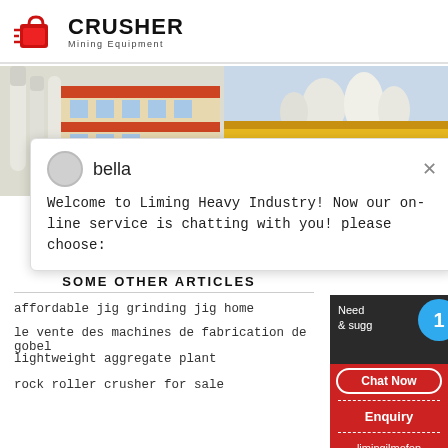[Figure (logo): Crusher Mining Equipment logo with red shopping bag icon and bold CRUSHER text]
[Figure (photo): Two industrial/mining facility photos side by side. Left: building with white pipes/ducts. Right: yellow mining machinery with white silos. Red badge reads '24Hrs Online'.]
bella
Welcome to Liming Heavy Industry! Now our online service is chatting with you! please choose:
SOME OTHER ARTICLES
affordable jig grinding jig home
le vente des machines de fabrication de gobel
lightweight aggregate plant
rock roller crusher for sale
Need
& sugg
Chat Now
Enquiry
limingjlmofen@sina.com